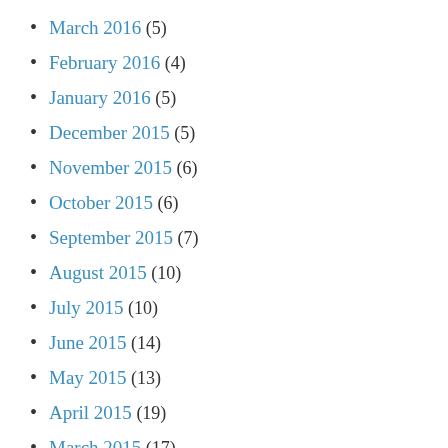March 2016 (5)
February 2016 (4)
January 2016 (5)
December 2015 (5)
November 2015 (6)
October 2015 (6)
September 2015 (7)
August 2015 (10)
July 2015 (10)
June 2015 (14)
May 2015 (13)
April 2015 (19)
March 2015 (17)
February 2015 (17)
January 2015 (21)
December 2014 (15)